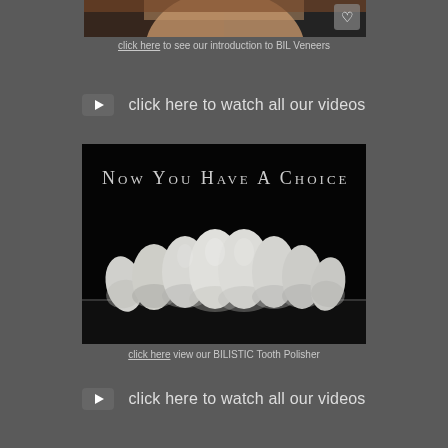[Figure (photo): Partial view of a woman's face with reddish-brown hair on dark background, with a heart logo watermark in top right]
click here to see our introduction to BIL Veneers
▶  click here to watch all our videos
[Figure (screenshot): Video thumbnail with black background showing text 'NOW YOU HAVE A CHOICE' and a row of white dental veneers/teeth displayed at the bottom]
click here view our BILISTIC Tooth Polisher
▶  click here to watch all our videos